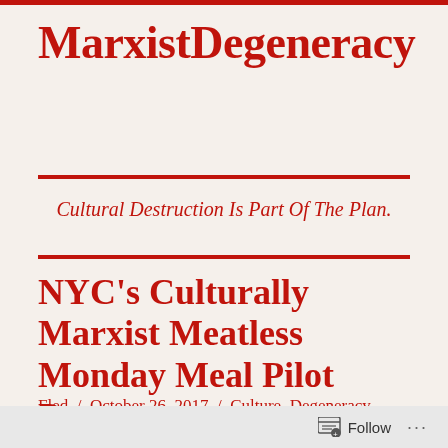MarxistDegeneracy
Cultural Destruction Is Part Of The Plan.
NYC's Culturally Marxist Meatless Monday Meal Pilot Program
Fled / October 26, 2017 / Culture, Degeneracy, Education. Enviornment. Food. Future. Health
Follow